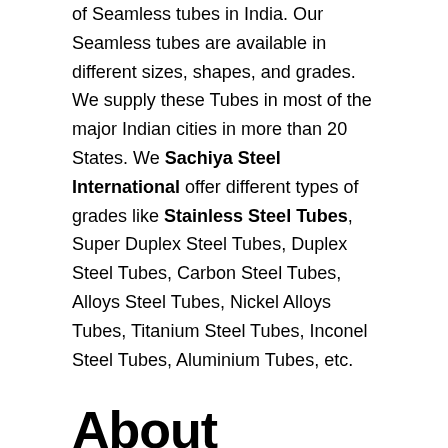of Seamless tubes in India. Our Seamless tubes are available in different sizes, shapes, and grades. We supply these Tubes in most of the major Indian cities in more than 20 States. We Sachiya Steel International offer different types of grades like Stainless Steel Tubes, Super Duplex Steel Tubes, Duplex Steel Tubes, Carbon Steel Tubes, Alloys Steel Tubes, Nickel Alloys Tubes, Titanium Steel Tubes, Inconel Steel Tubes, Aluminium Tubes, etc.
About Seamless Tubes:
Seamless Tubes as the name suggests is a Tubes without a seam or a weld-joint in contrast to Seam or Welded Tubes. In a Seam or Welded Tubes, the seam or the weld-joint is the weaker part of the Tubes limiting the strength of the Tubes to the strength of the weld-joint. Whereas the seamless Tubes does not have any such joint and thus has a uniform structure &